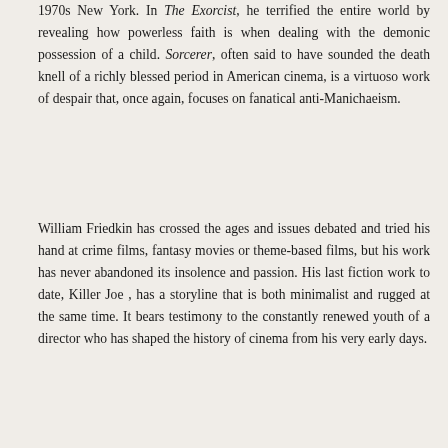1970s New York. In The Exorcist, he terrified the entire world by revealing how powerless faith is when dealing with the demonic possession of a child. Sorcerer, often said to have sounded the death knell of a richly blessed period in American cinema, is a virtuoso work of despair that, once again, focuses on fanatical anti-Manichaeism.
William Friedkin has crossed the ages and issues debated and tried his hand at crime films, fantasy movies or theme-based films, but his work has never abandoned its insolence and passion. His last fiction work to date, Killer Joe , has a storyline that is both minimalist and rugged at the same time. It bears testimony to the constantly renewed youth of a director who has shaped the history of cinema from his very early days.